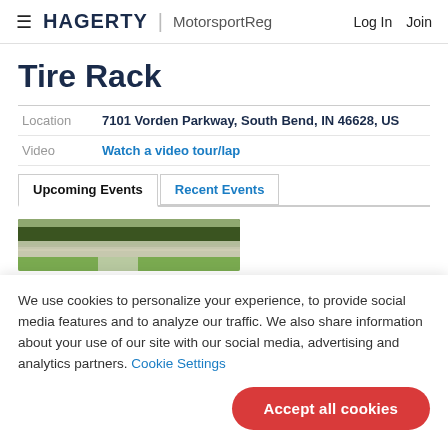≡ HAGERTY | MotorsportReg   Log In   Join
Tire Rack
| Label | Value |
| --- | --- |
| Location | 7101 Vorden Parkway, South Bend, IN 46628, US |
| Video | Watch a video tour/lap |
Upcoming Events   Recent Events
[Figure (photo): Aerial or ground-level photo of a motorsport track with green grass and pavement visible]
We use cookies to personalize your experience, to provide social media features and to analyze our traffic. We also share information about your use of our site with our social media, advertising and analytics partners. Cookie Settings
Accept all cookies